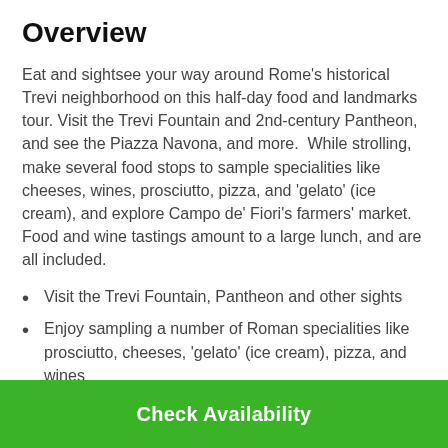Overview
Eat and sightsee your way around Rome's historical Trevi neighborhood on this half-day food and landmarks tour. Visit the Trevi Fountain and 2nd-century Pantheon, and see the Piazza Navona, and more.  While strolling, make several food stops to sample specialities like cheeses, wines, prosciutto, pizza, and 'gelato' (ice cream), and explore Campo de' Fiori's farmers' market. Food and wine tastings amount to a large lunch, and are all included.
Visit the Trevi Fountain, Pantheon and other sights
Enjoy sampling a number of Roman specialities like prosciutto, cheeses, 'gelato' (ice cream), pizza, and wines
Explore the Campo de' Fiori farmers market, where stalls
Check Availability